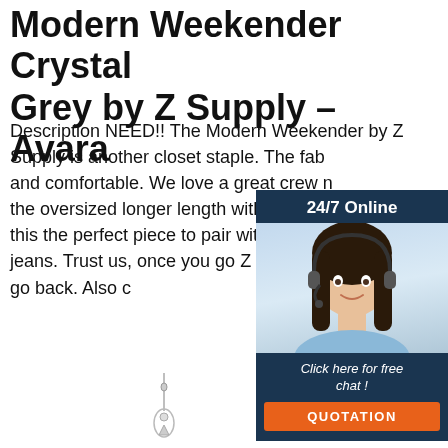Modern Weekender Crystal Grey by Z Supply – Avara
Description NEED!! The Modern Weekender by Z Supply is another closet staple. The fab and comfortable. We love a great crew the oversized longer length with side slit this the perfect piece to pair with leggings jeans. Trust us, once you go Z Supply, y go back. Also c
[Figure (infographic): Customer service chat widget with '24/7 Online' header, photo of woman with headset, 'Click here for free chat!' text, and orange QUOTATION button]
Get Price
[Figure (logo): Orange and dark 'TOP' button with dotted arc above text]
[Figure (photo): Two jewelry pendant items at the bottom of the page]